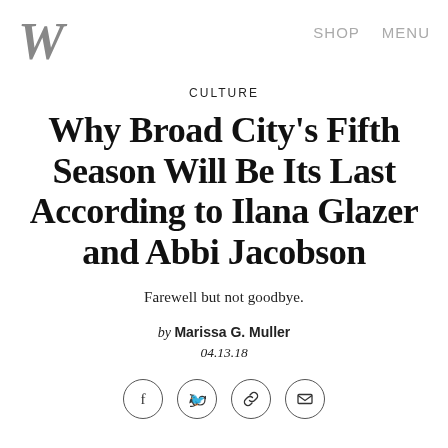W   SHOP   MENU
CULTURE
Why Broad City’s Fifth Season Will Be Its Last According to Ilana Glazer and Abbi Jacobson
Farewell but not goodbye.
by Marissa G. Muller
04.13.18
[Figure (other): Social sharing icons: Facebook, Twitter, Link/chain, Email]